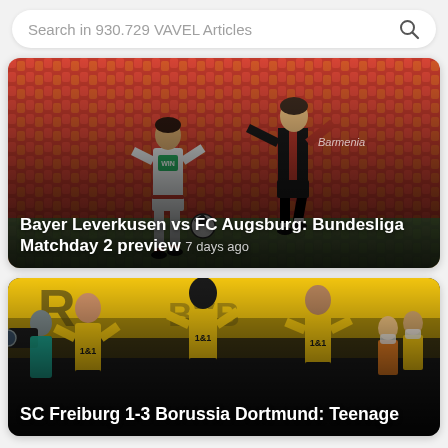Search in 930.729 VAVEL Articles
[Figure (photo): Two soccer players competing for the ball — one in white Augsburg kit, one in black-red striped Bayer Leverkusen kit — on a pitch with orange stadium seats in background]
Bayer Leverkusen vs FC Augsburg: Bundesliga Matchday 2 preview  7 days ago
[Figure (photo): Borussia Dortmund players in yellow-black kits celebrating, with a camera crew visible and fans in background wearing masks]
SC Freiburg 1-3 Borussia Dortmund: Teenage